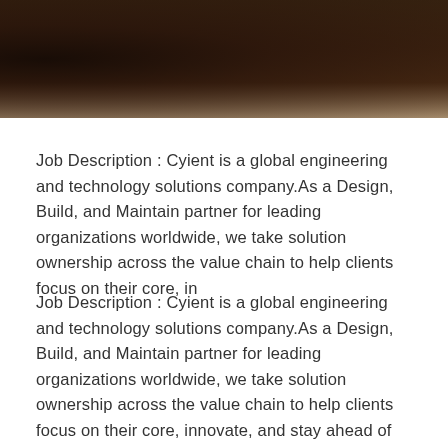[Figure (photo): Dark background photo banner at the top of the page, showing a dark brown/black blurred image]
Job Description : Cyient is a global engineering and technology solutions company.As a Design, Build, and Maintain partner for leading organizations worldwide, we take solution ownership across the value chain to help clients focus on their core, in
Job Description : Cyient is a global engineering and technology solutions company.As a Design, Build, and Maintain partner for leading organizations worldwide, we take solution ownership across the value chain to help clients focus on their core, innovate, and stay ahead of the curve. We leverage digital technologies, advanced analytics capabilities, and our domain knowledge and technical expertise, to solve complex business problems. With over 15,000 and